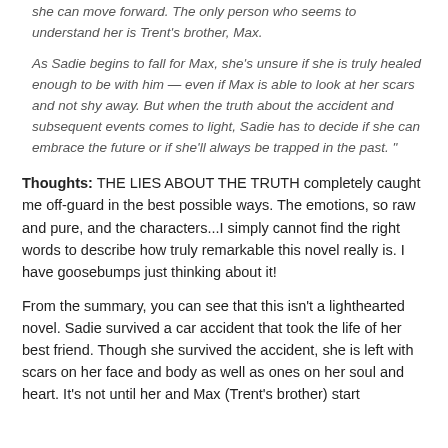she can move forward. The only person who seems to understand her is Trent's brother, Max.

As Sadie begins to fall for Max, she's unsure if she is truly healed enough to be with him — even if Max is able to look at her scars and not shy away. But when the truth about the accident and subsequent events comes to light, Sadie has to decide if she can embrace the future or if she'll always be trapped in the past. "
Thoughts: THE LIES ABOUT THE TRUTH completely caught me off-guard in the best possible ways. The emotions, so raw and pure, and the characters...I simply cannot find the right words to describe how truly remarkable this novel really is. I have goosebumps just thinking about it!
From the summary, you can see that this isn't a lighthearted novel. Sadie survived a car accident that took the life of her best friend. Though she survived the accident, she is left with scars on her face and body as well as ones on her soul and heart. It's not until her and Max (Trent's brother) start